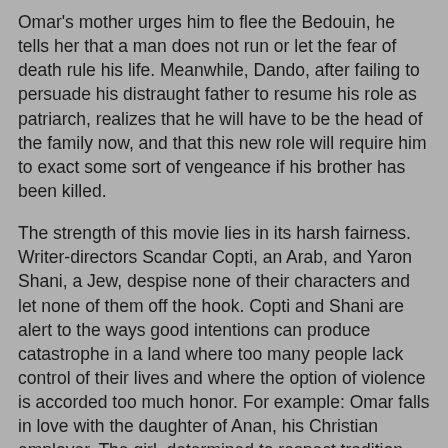Omar's mother urges him to flee the Bedouin, he tells her that a man does not run or let the fear of death rule his life. Meanwhile, Dando, after failing to persuade his distraught father to resume his role as patriarch, realizes that he will have to be the head of the family now, and that this new role will require him to exact some sort of vengeance if his brother has been killed.
The strength of this movie lies in its harsh fairness. Writer-directors Scandar Copti, an Arab, and Yaron Shani, a Jew, despise none of their characters and let none of them off the hook. Copti and Shani are alert to the ways good intentions can produce catastrophe in a land where too many people lack control of their lives and where the option of violence is accorded too much honor. For example: Omar falls in love with the daughter of Anan, his Christian employer. The girl, determined to respect tradition and her father's wishes, keeps the relationship platonic, and Omar himself is willing to wait for a marriage that can occur only if Anan can be persuaded to overlook religious differences. The sweethearts remain chaste, but their longings impel them to exchange tender looks and furtive caresses, and it's these very trifles that make the father aware of their love and persuade him that they're not chaste. Another example: A Jewish neighbor